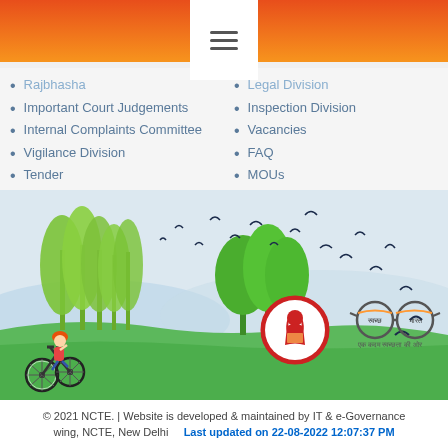Rajbhasha
Legal Division
Important Court Judgements
Inspection Division
Internal Complaints Committee
Vacancies
Vigilance Division
FAQ
Tender
MOUs
Privacy Policy
Grievance/Complaint
[Figure (illustration): Illustration showing a child on a bicycle, trees, birds, and logos including a girl reading (Beti Bachao) and Swachh Bharat spectacles logo on a green landscape background]
© 2021 NCTE. | Website is developed & maintained by IT & e-Governance wing, NCTE, New Delhi   Last updated on 22-08-2022 12:07:37 PM